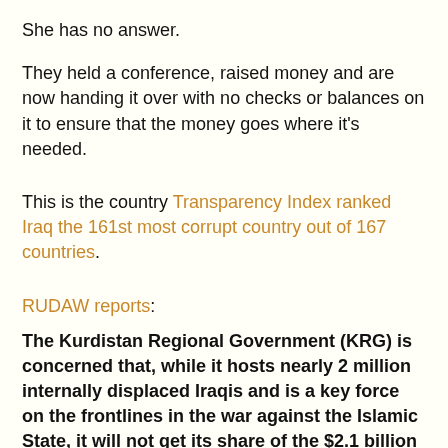She has no answer.
They held a conference, raised money and are now handing it over with no checks or balances on it to ensure that the money goes where it's needed.
This is the country Transparency Index ranked Iraq the 161st most corrupt country out of 167 countries.
RUDAW reports:
The Kurdistan Regional Government (KRG) is concerned that, while it hosts nearly 2 million internally displaced Iraqis and is a key force on the frontlines in the war against the Islamic State, it will not get its share of the $2.1 billion pledged for Iraq at a conference in Washington this week. "We are talking to the international community to respect the great responsibility that the Kurdistan Region is facing regarding the ISIS war and the refugee...